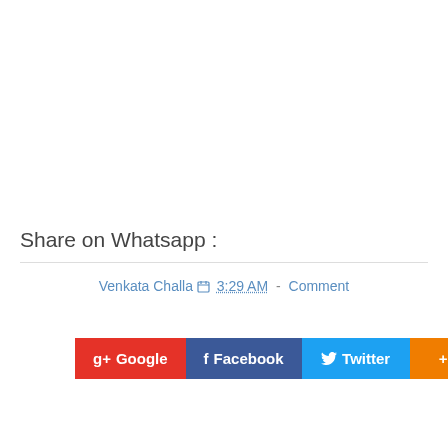Share on Whatsapp :
Venkata Challa  3:29 AM  -  Comment
[Figure (other): Social share buttons: Google+, Facebook, Twitter, More]